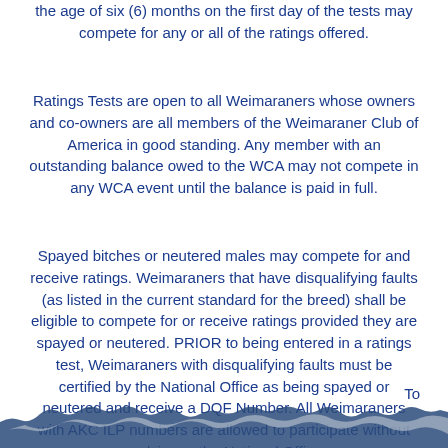the age of six (6) months on the first day of the tests may compete for any or all of the ratings offered.
Ratings Tests are open to all Weimaraners whose owners and co-owners are all members of the Weimaraner Club of America in good standing. Any member with an outstanding balance owed to the WCA may not compete in any WCA event until the balance is paid in full.
Spayed bitches or neutered males may compete for and receive ratings. Weimaraners that have disqualifying faults (as listed in the current standard for the breed) shall be eligible to compete for or receive ratings provided they are spayed or neutered. PRIOR to being entered in a ratings test, Weimaraners with disqualifying faults must be certified by the National Office as being spayed or neutered and receive a DQF Number. All Weimaraners with AKC ILP numbers are allowed to participate without applying to the National Office.
To
[Figure (photo): Bottom strip showing a torn/ragged edge of fabric or fur, dark blue-gray in color against white background]